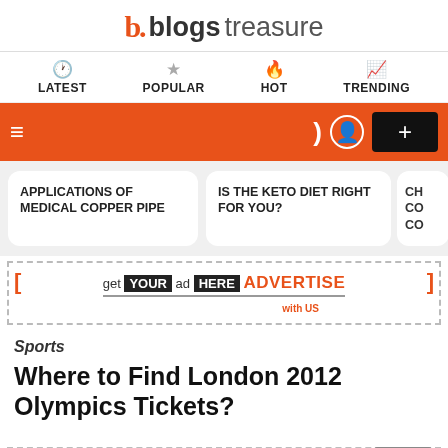blogs treasure
LATEST | POPULAR | HOT | TRENDING
hamburger menu / dark mode / user / +
APPLICATIONS OF MEDICAL COPPER PIPE
IS THE KETO DIET RIGHT FOR YOU?
[Figure (other): Advertisement banner: get YOUR ad HERE ADVERTISE with US]
Sports
Where to Find London 2012 Olympics Tickets?
[Figure (other): Advertisement banner: get YOUR ad HERE ADVERTISE with US]